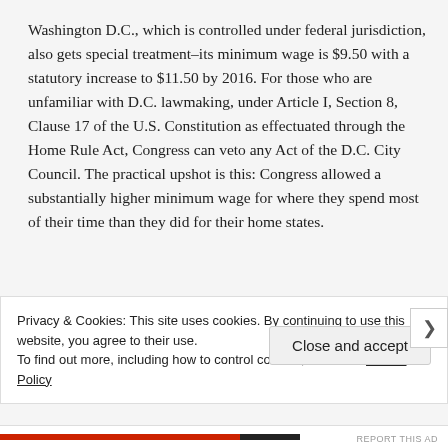Washington D.C., which is controlled under federal jurisdiction, also gets special treatment–its minimum wage is $9.50 with a statutory increase to $11.50 by 2016. For those who are unfamiliar with D.C. lawmaking, under Article I, Section 8, Clause 17 of the U.S. Constitution as effectuated through the Home Rule Act, Congress can veto any Act of the D.C. City Council. The practical upshot is this: Congress allowed a substantially higher minimum wage for where they spend most of their time than they did for their home states.
Privacy & Cookies: This site uses cookies. By continuing to use this website, you agree to their use.
To find out more, including how to control cookies, see here: Cookie Policy
Close and accept